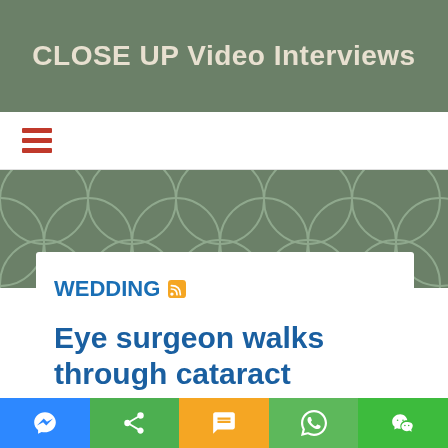CLOSE UP Video Interviews
[Figure (screenshot): Hamburger menu icon (three horizontal red lines)]
[Figure (illustration): Decorative circle bubble pattern on sage green background]
WEDDING
Eye surgeon walks through cataract surgery
[Figure (infographic): Bottom share bar with messenger, share, SMS, WhatsApp, and WeChat icons]